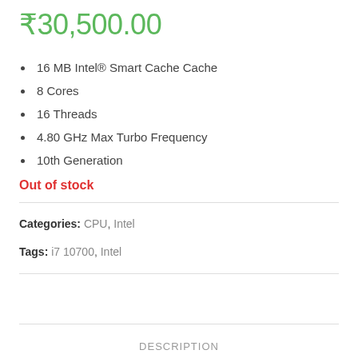₹30,500.00
16 MB Intel® Smart Cache Cache
8 Cores
16 Threads
4.80 GHz Max Turbo Frequency
10th Generation
Out of stock
Categories: CPU, Intel
Tags: i7 10700, Intel
DESCRIPTION
REVIEWS (0)